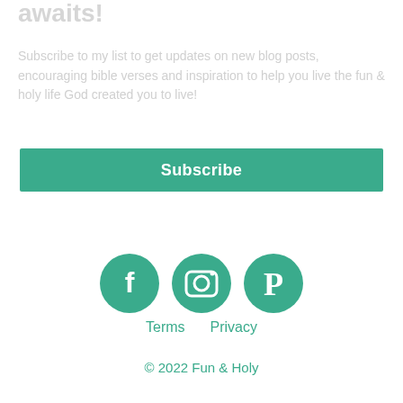awaits!
Subscribe to my list to get updates on new blog posts, encouraging bible verses and inspiration to help you live the fun & holy life God created you to live!
Subscribe
[Figure (infographic): Three teal circular social media icons: Facebook (f), Instagram (camera), Pinterest (P)]
Terms    Privacy
© 2022 Fun & Holy